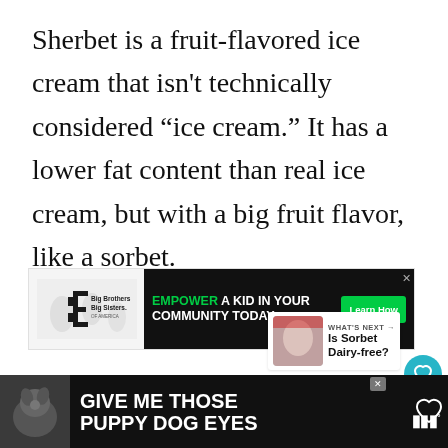Sherbet is a fruit-flavored ice cream that isn't technically considered “ice cream.” It has a lower fat content than real ice cream, but with a big fruit flavor, like a sorbet.
[Figure (screenshot): Advertisement banner for Big Brothers Big Sisters: 'Empower a kid in your community today. Learn How' button on black background.]
[Figure (screenshot): Bottom advertisement banner: 'Give me those puppy dog eyes' with dog image on dark background, Tubi logo on right.]